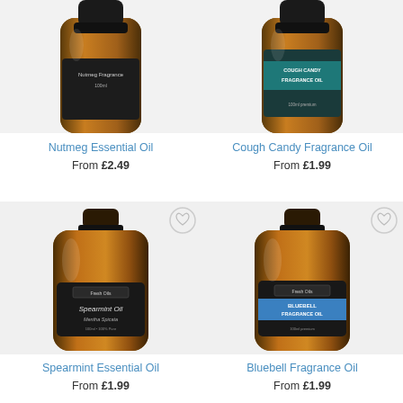[Figure (photo): Partial top view of dark amber bottle of Nutmeg Essential Oil with black label, cropped at top]
Nutmeg Essential Oil
From £2.49
[Figure (photo): Partial top view of dark amber bottle of Cough Candy Fragrance Oil with teal/blue label, cropped at top]
Cough Candy Fragrance Oil
From £1.99
[Figure (photo): Full amber bottle of Spearmint Essential Oil with dark label showing Fresh Oils branding and Spearmint Oil text, with heart/wishlist icon]
Spearmint Essential Oil
From £1.99
[Figure (photo): Full amber bottle of Bluebell Fragrance Oil with dark label showing Fresh Oils branding and blue BLUEBELL FRAGRANCE OIL band, with heart/wishlist icon]
Bluebell Fragrance Oil
From £1.99